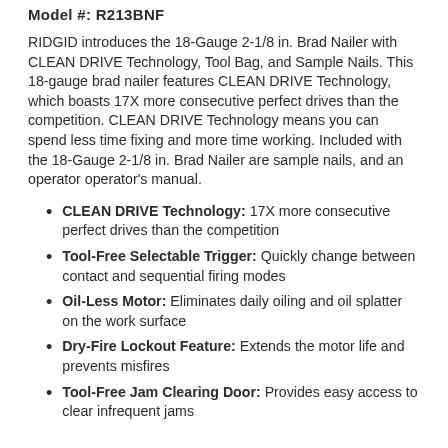Model #: R213BNF
RIDGID introduces the 18-Gauge 2-1/8 in. Brad Nailer with CLEAN DRIVE Technology, Tool Bag, and Sample Nails. This 18-gauge brad nailer features CLEAN DRIVE Technology, which boasts 17X more consecutive perfect drives than the competition. CLEAN DRIVE Technology means you can spend less time fixing and more time working. Included with the 18-Gauge 2-1/8 in. Brad Nailer are sample nails, and an operator operator's manual.
CLEAN DRIVE Technology: 17X more consecutive perfect drives than the competition
Tool-Free Selectable Trigger: Quickly change between contact and sequential firing modes
Oil-Less Motor: Eliminates daily oiling and oil splatter on the work surface
Dry-Fire Lockout Feature: Extends the motor life and prevents misfires
Tool-Free Jam Clearing Door: Provides easy access to clear infrequent jams